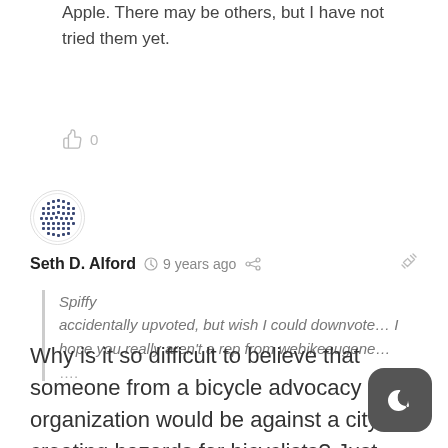Apple. There may be others, but I have not tried them yet.
👍 0
[Figure (illustration): User avatar — circular icon with decorative geometric/dot pattern in dark blue on white background]
Seth D. Alford  🕐 9 years ago  🔗
Spiffy
accidentally upvoted, but wish I could downvote… I hope you really aren't a rep from webikeeugene…
….
Why is it so difficult to believe that someone from a bicycle advocacy organization would be against a city creating hazards for bicyclists? Just because the BTA is silent when it comes to objecting to additional tracks in streets that might otherwise be